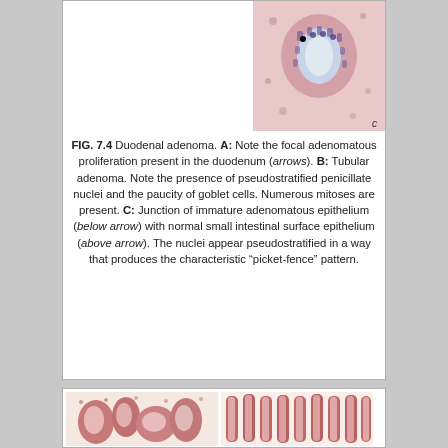[Figure (photo): Histological microscopy image of duodenal adenoma junction (C), showing pink/purple tissue cross-section at high magnification with H&E staining]
FIG. 7.4 Duodenal adenoma. A: Note the focal adenomatous proliferation present in the duodenum (arrows). B: Tubular adenoma. Note the presence of pseudostratified penicillate nuclei and the paucity of goblet cells. Numerous mitoses are present. C: Junction of immature adenomatous epithelium (below arrow) with normal small intestinal surface epithelium (above arrow). The nuclei appear pseudostratified in a way that produces the characteristic “picket-fence” pattern.
[Figure (photo): Two histological microscopy images of intestinal tissue with H&E staining showing villous/glandular architecture at low magnification. Left panel shows irregular branching villi; right panel shows taller, more regular parallel villi.]